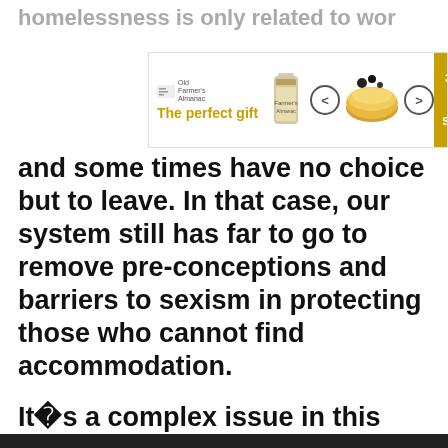homelessness is only related to wor...
[Figure (other): Advertisement banner: 'The perfect gift' with food product images, navigation arrows, and '35% OFF + FREE SHIPPING' offer badge]
and some times have no choice but to leave. In that case, our system still has far to go to remove pre-conceptions and barriers to sexism in protecting those who cannot find accommodation.
It�s a complex issue in this country. Exasperatingly, the system is overloaded with an element of those who rape and pillage the good graces of our society, by methodically and